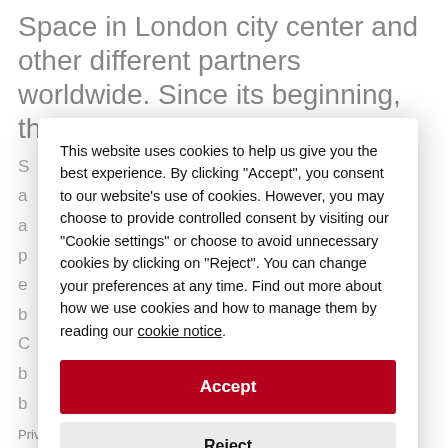Space in London city center and other different partners worldwide. Since its beginning, the
This website uses cookies to help us give you the best experience. By clicking "Accept", you consent to our website's use of cookies. However, you may choose to provide controlled consent by visiting our "Cookie settings" or choose to avoid unnecessary cookies by clicking on "Reject". You can change your preferences at any time. Find out more about how we use cookies and how to manage them by reading our cookie notice.
Accept
Reject
Cookie settings
Private policy | Cookie settings